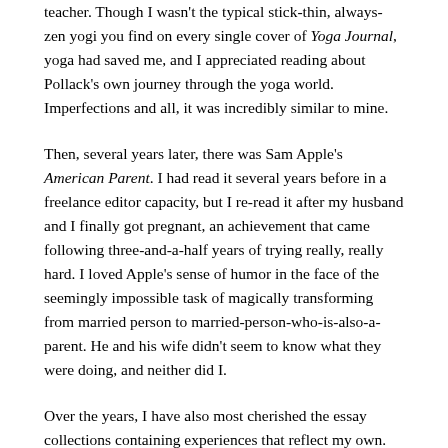teacher. Though I wasn't the typical stick-thin, always-zen yogi you find on every single cover of Yoga Journal, yoga had saved me, and I appreciated reading about Pollack's own journey through the yoga world. Imperfections and all, it was incredibly similar to mine.
Then, several years later, there was Sam Apple's American Parent. I had read it several years before in a freelance editor capacity, but I re-read it after my husband and I finally got pregnant, an achievement that came following three-and-a-half years of trying really, really hard. I loved Apple's sense of humor in the face of the seemingly impossible task of magically transforming from married person to married-person-who-is-also-a-parent. He and his wife didn't seem to know what they were doing, and neither did I.
Over the years, I have also most cherished the essay collections containing experiences that reflect my own. There is Barbara Kingsolver's Small Wonder. There is Anne Fadiman's Ex Libris. Especially popular within the literary community in recent